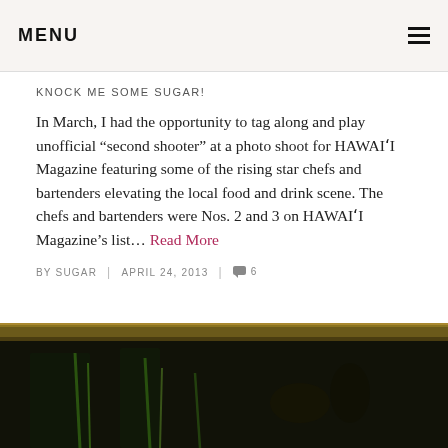MENU
KNOCK ME SOME SUGAR!
In March, I had the opportunity to tag along and play unofficial “second shooter” at a photo shoot for HAWAIʻI Magazine featuring some of the rising star chefs and bartenders elevating the local food and drink scene. The chefs and bartenders were Nos. 2 and 3 on HAWAIʻI Magazine’s list… Read More
BY SUGAR | APRIL 24, 2013 | 6
[Figure (photo): Dark close-up photo of food/drink items with green stems or garnishes, golden/wooden frame or rim visible at top, dark moody background]